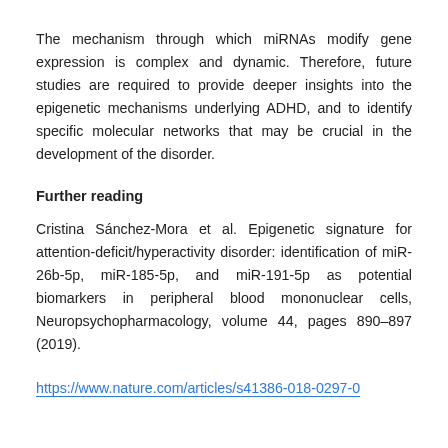The mechanism through which miRNAs modify gene expression is complex and dynamic. Therefore, future studies are required to provide deeper insights into the epigenetic mechanisms underlying ADHD, and to identify specific molecular networks that may be crucial in the development of the disorder.
Further reading
Cristina Sánchez-Mora et al. Epigenetic signature for attention-deficit/hyperactivity disorder: identification of miR-26b-5p, miR-185-5p, and miR-191-5p as potential biomarkers in peripheral blood mononuclear cells, Neuropsychopharmacology, volume 44, pages 890–897 (2019).
https://www.nature.com/articles/s41386-018-0297-0